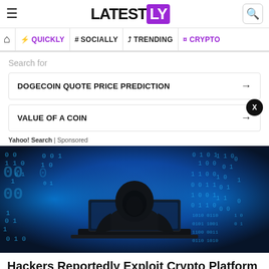LATESTLY
QUICKLY | # SOCIALLY | TRENDING | CRYPTO
Search for
DOGECOIN QUOTE PRICE PREDICTION →
VALUE OF A COIN →
Yahoo! Search | Sponsored
[Figure (photo): Hooded hacker figure silhouetted against blue binary code digital background, seated at a laptop]
Hackers Reportedly Exploit Crypto Platform RenBridge To Launder $540 Million